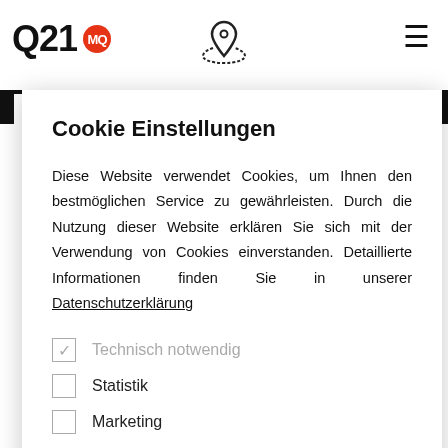Q21 MQ
Cookie Einstellungen
Diese Website verwendet Cookies, um Ihnen den bestmöglichen Service zu gewährleisten. Durch die Nutzung dieser Website erklären Sie sich mit der Verwendung von Cookies einverstanden. Detaillierte Informationen finden Sie in unserer Datenschutzerklärung
☑ Technisch notwendig
☐ Statistik
☐ Marketing
I will be creating a master survival and resource plan to be used in the event of a natural disaster, civil